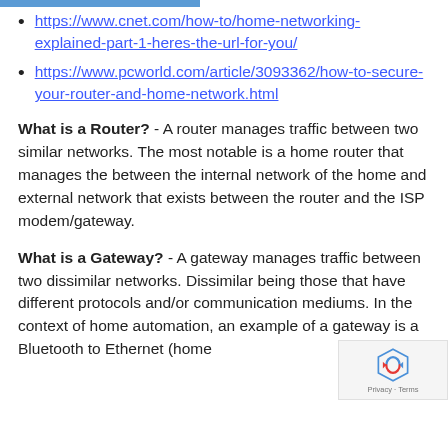https://www.cnet.com/how-to/home-networking-explained-part-1-heres-the-url-for-you/
https://www.pcworld.com/article/3093362/how-to-secure-your-router-and-home-network.html
What is a Router? - A router manages traffic between two similar networks. The most notable is a home router that manages the between the internal network of the home and external network that exists between the router and the ISP modem/gateway.
What is a Gateway? - A gateway manages traffic between two dissimilar networks. Dissimilar being those that have different protocols and/or communication mediums. In the context of home automation, an example of a gateway is a Bluetooth to Ethernet (home...